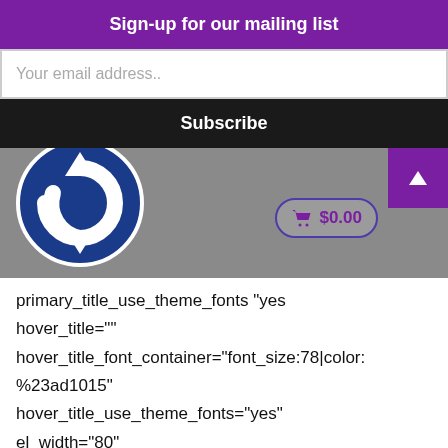Sign-up for our mailing list
Your email address..
Subscribe
[Figure (screenshot): Screenshot of a website with a circular logo (blue circle with white recycling/refresh arrow icon) on a grey background, a purple corner button with a triangle/arrow icon, and a shopping cart button showing $0.00]
primary_title_use_theme_fonts "yes"
hover_title=""
hover_title_font_container="font_size:78|color:%23ad1015"
hover_title_use_theme_fonts="yes"
el_width="80"
use_custom_fonts_primary_title="true"